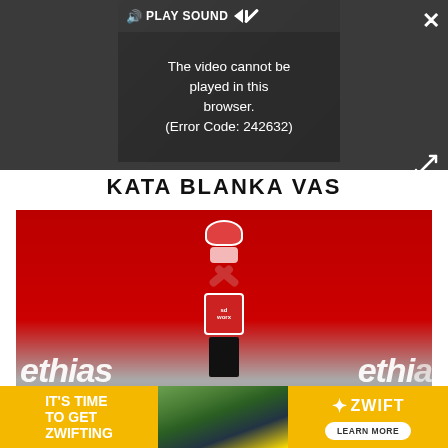[Figure (screenshot): Video player overlay showing error message: 'The video cannot be played in this browser. (Error Code: 242632)' with PLAY SOUND control bar and dark background, over a cycling video screenshot]
KATA BLANKA VAS
[Figure (photo): Cyclist Kata Blanka Vas celebrating a race victory with arms raised, wearing SD Worx team kit, against a red Ethias advertising banner background]
[Figure (infographic): Advertisement banner: 'IT'S TIME TO GET ZWIFTING' with Zwift logo and 'LEARN MORE' button, yellow/orange background with cycling landscape photo in center]